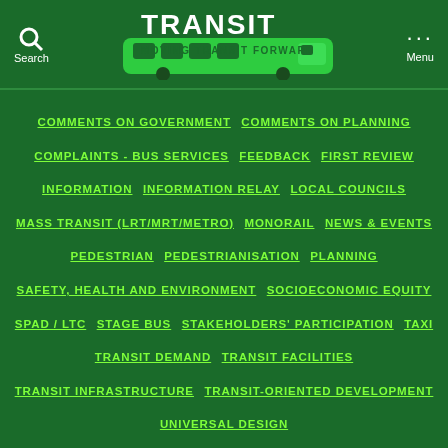[Figure (logo): TRANSIT - Moving Transit Forward logo with green bus graphic on dark green background]
COMMENTS ON GOVERNMENT
COMMENTS ON PLANNING
COMPLAINTS - BUS SERVICES
FEEDBACK
FIRST REVIEW
INFORMATION
INFORMATION RELAY
LOCAL COUNCILS
MASS TRANSIT (LRT/MRT/METRO)
MONORAIL
NEWS & EVENTS
PEDESTRIAN
PEDESTRIANISATION
PLANNING
SAFETY, HEALTH AND ENVIRONMENT
SOCIOECONOMIC EQUITY
SPAD / LTC
STAGE BUS
STAKEHOLDERS' PARTICIPATION
TAXI
TRANSIT DEMAND
TRANSIT FACILITIES
TRANSIT INFRASTRUCTURE
TRANSIT-ORIENTED DEVELOPMENT
UNIVERSAL DESIGN
Brickfields bus & taxi lane delayed until after Deepavali